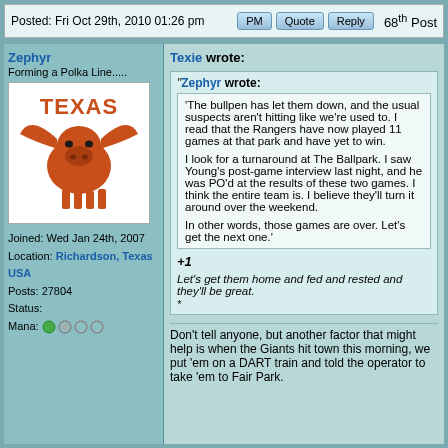Posted: Fri Oct 29th, 2010 01:26 pm   PM   Quote   Reply   68th Post
Zephyr
Forming a Polka Line.....
Joined: Wed Jan 24th, 2007
Location: Richardson, Texas USA
Posts: 27804
Status:
Mana:
[Figure (illustration): Texas Longhorns logo - orange longhorn with TEXAS text on white background]
Texie wrote:
"Zephyr wrote:
'The bullpen has let them down, and the usual suspects aren't hitting like we're used to. I read that the Rangers have now played 11 games at that park and have yet to win.
I look for a turnaround at The Ballpark. I saw Young's post-game interview last night, and he was PO'd at the results of these two games. I think the entire team is. I believe they'll turn it around over the weekend.
In other words, those games are over. Let's get the next one.'"
+1
Let's get them home and fed and rested and they'll be great.
*
Don't tell anyone, but another factor that might help is when the Giants hit town this morning, we put 'em on a DART train and told the operator to take 'em to Fair Park.